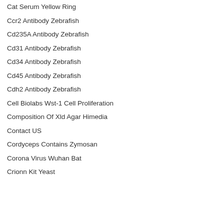Cat Serum Yellow Ring
Ccr2 Antibody Zebrafish
Cd235A Antibody Zebrafish
Cd31 Antibody Zebrafish
Cd34 Antibody Zebrafish
Cd45 Antibody Zebrafish
Cdh2 Antibody Zebrafish
Cell Biolabs Wst-1 Cell Proliferation
Composition Of Xld Agar Himedia
Contact US
Cordyceps Contains Zymosan
Corona Virus Wuhan Bat
Crionn Kit Yeast